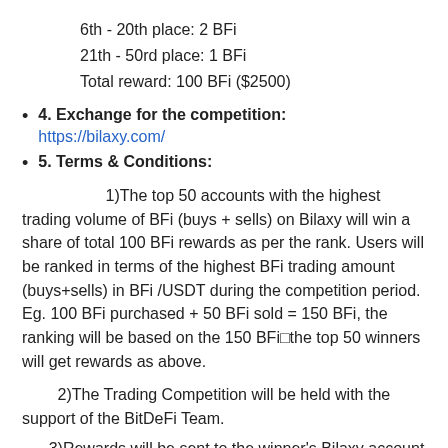6th - 20th place: 2 BFi
21th - 50rd place: 1 BFi
Total reward: 100 BFi ($2500)
4. Exchange for the competition: https://bilaxy.com/
5. Terms & Conditions:
1)The top 50 accounts with the highest trading volume of BFi (buys + sells) on Bilaxy will win a share of total 100 BFi rewards as per the rank. Users will be ranked in terms of the highest BFi trading amount (buys+sells) in BFi /USDT during the competition period. Eg. 100 BFi purchased + 50 BFi sold = 150 BFi, the ranking will be based on the 150 BFi□the top 50 winners will get rewards as above.
2)The Trading Competition will be held with the support of the BitDeFi Team.
3)Rewards will be sent to the winner's Bilaxy account